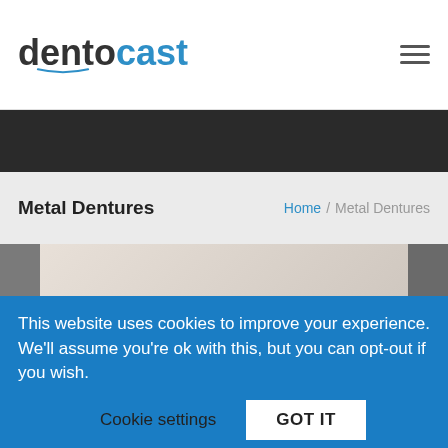[Figure (logo): Dentocast logo with dark 'dento' and blue 'cast' text, with a blue curved underline arc beneath]
[Figure (other): Hamburger menu icon (three horizontal lines) in top right corner]
[Figure (other): Dark/black banner strip below the header navigation]
Metal Dentures
Home / Metal Dentures
[Figure (other): Image carousel/slider area with left and right navigation arrows, showing a light beige/tan gradient background]
This website uses cookies to improve your experience. We'll assume you're ok with this, but you can opt-out if you wish.
Cookie settings
GOT IT